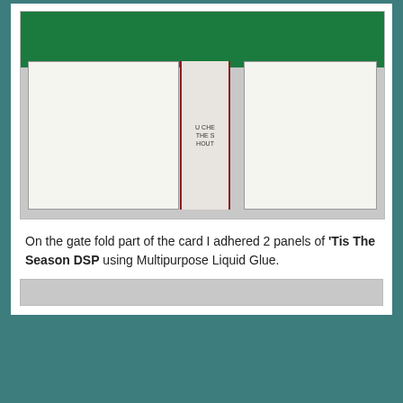[Figure (photo): A gate fold greeting card opened flat, showing two panels decorated with 'Tis The Season DSP (holly and berries pattern on white background), with a green top section and gray surface underneath. The center spine shows partial text.]
On the gate fold part of the card I adhered 2 panels of 'Tis The Season DSP using Multipurpose Liquid Glue.